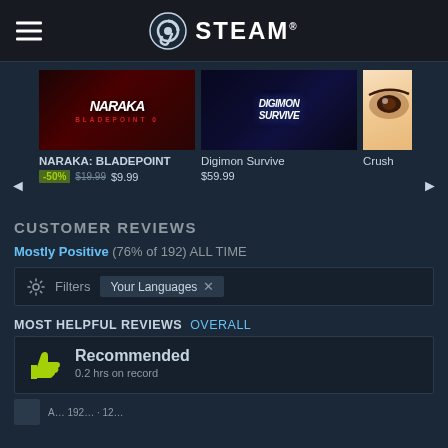STEAM
[Figure (screenshot): NARAKA: BLADEPOINT game cover image with dark red/black background and stylized text]
NARAKA: BLADEPOINT
-50% $19.99 $9.99
[Figure (screenshot): Digimon Survive game cover image with dark blue background and stylized text]
Digimon Survive
$59.99
[Figure (screenshot): Crush game cover image with light background showing partial eye/anime character]
Crush
CUSTOMER REVIEWS
Mostly Positive (76% of 192) ALL TIME
Filters Your Languages
MOST HELPFUL REVIEWS OVERALL
Recommended
0.2 hrs on record